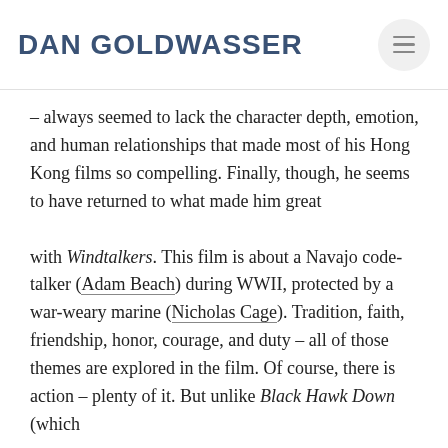DAN GOLDWASSER
– always seemed to lack the character depth, emotion, and human relationships that made most of his Hong Kong films so compelling. Finally, though, he seems to have returned to what made him great
with Windtalkers. This film is about a Navajo code-talker (Adam Beach) during WWII, protected by a war-weary marine (Nicholas Cage). Tradition, faith, friendship, honor, courage, and duty – all of those themes are explored in the film. Of course, there is action – plenty of it. But unlike Black Hawk Down (which